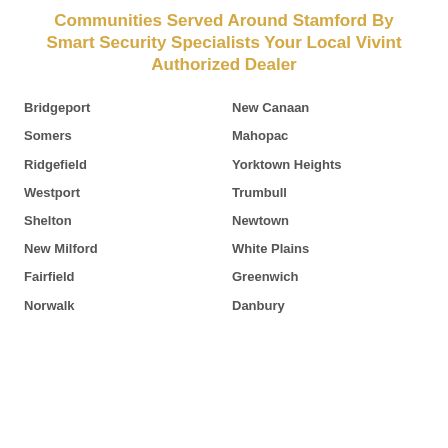Communities Served Around Stamford By Smart Security Specialists Your Local Vivint Authorized Dealer
Bridgeport
New Canaan
Somers
Mahopac
Ridgefield
Yorktown Heights
Westport
Trumbull
Shelton
Newtown
New Milford
White Plains
Fairfield
Greenwich
Norwalk
Danbury